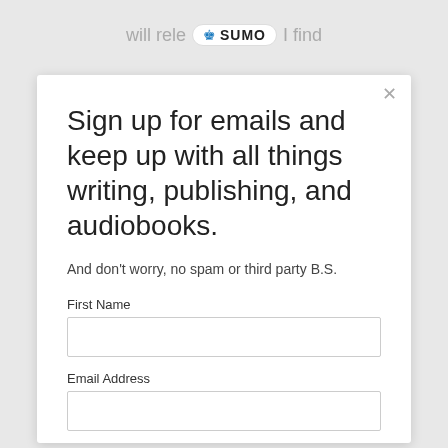[Figure (screenshot): Top background area showing partial text 'will rele' and 'I find' with SUMO badge/logo between them]
Sign up for emails and keep up with all things writing, publishing, and audiobooks.
And don't worry, no spam or third party B.S.
First Name
Email Address
Subscribe